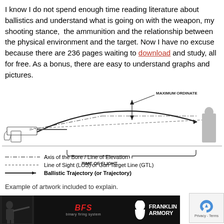I know I do not spend enough time reading literature about ballistics and understand what is going on with the weapon, my shooting stance,  the ammunition and the relationship between the physical environment and the target. Now I have no excuse because there are 236 pages waiting to download and study, all for free. As a bonus, there are easy to understand graphs and pictures.
[Figure (engineering-diagram): Ballistic trajectory diagram showing an AR-style rifle at left, a silhouette target at right, with three labeled lines: Axis of the Bore/Line of Elevation (dash-dot), Line of Sight/Gun Target Line (dashed), and Ballistic Trajectory (solid arrow). A vertical arrow labeled MAXIMUM ORDINATE indicates the peak height of the trajectory. A brace below indicates TIME OF FLIGHT.]
Example of artwork included to explain.
If this manual was created for commercial sale, it would not cheap. I Army's d u even
[Figure (illustration): Advertisement banner with a tactical shooter photo on left, BFS (binary firing system) red logo in center, and Franklin Armory branding on right, on dark background.]